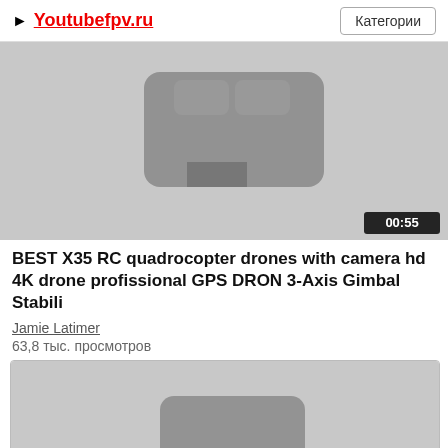► Youtubefpv.ru   Категории
[Figure (screenshot): Video thumbnail showing a gray background with a dark rounded rectangular drone shape in center, duration badge 00:55 in bottom right]
BEST X35 RC quadrocopter drones with camera hd 4K drone profissional GPS DRON 3-Axis Gimbal Stabili
Jamie Latimer
63,8 тыс. просмотров
[Figure (screenshot): Second video thumbnail showing a gray background with a dark drone shape at the bottom center]